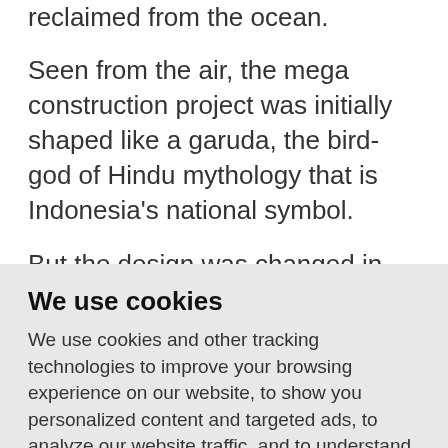reclaimed from the ocean.
Seen from the air, the mega construction project was initially shaped like a garuda, the bird-god of Hindu mythology that is Indonesia's national symbol.
But the design was changed in response to opposition and a government request
We use cookies
We use cookies and other tracking technologies to improve your browsing experience on our website, to show you personalized content and targeted ads, to analyze our website traffic, and to understand where our visitors are coming from.